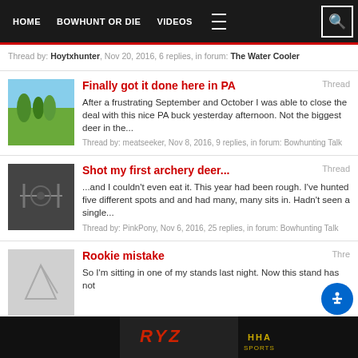HOME  BOWHUNT OR DIE  VIDEOS
Thread by: Hoytxhunter, Nov 20, 2016, 6 replies, in forum: The Water Cooler
Thread  Finally got it done here in PA
After a frustrating September and October I was able to close the deal with this nice PA buck yesterday afternoon. Not the biggest deer in the...
Thread by: meatseeker, Nov 8, 2016, 9 replies, in forum: Bowhunting Talk
Thread  Shot my first archery deer...
...and I couldn't even eat it. This year had been rough. I've hunted five different spots and and had many, many sits in. Hadn't seen a single...
Thread by: PinkPony, Nov 6, 2016, 25 replies, in forum: Bowhunting Talk
Thre  Rookie mistake
So I'm sitting in one of my stands last night. Now this stand has not...
[Figure (screenshot): Advertisement banner for RYZ and HHA Sports at bottom of page]